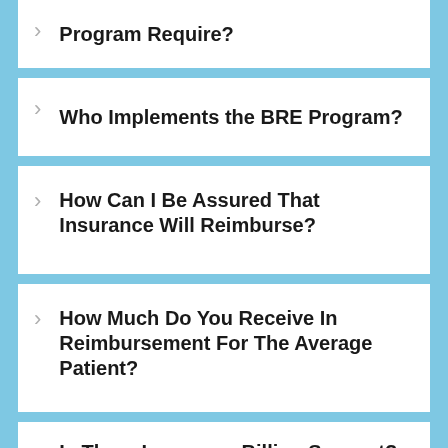Program Require?
Who Implements the BRE Program?
How Can I Be Assured That Insurance Will Reimburse?
How Much Do You Receive In Reimbursement For The Average Patient?
Is There Insurance Billing Support?